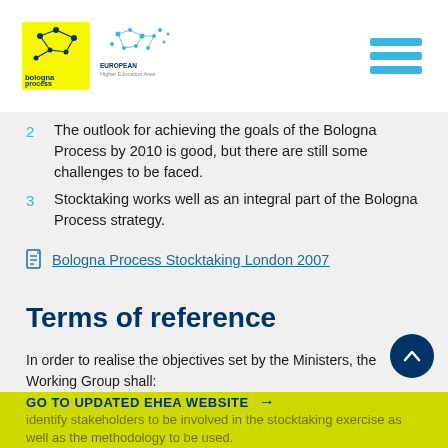Bologna Process / European Higher Education Area
2  The outlook for achieving the goals of the Bologna Process by 2010 is good, but there are still some challenges to be faced.
3  Stocktaking works well as an integral part of the Bologna Process strategy.
Bologna Process Stocktaking London 2007
Terms of reference
In order to realise the objectives set by the Ministers, the Working Group shall:
Identify stakeholders to be involved in the stocktaking exercise as well as the methodology to be used.